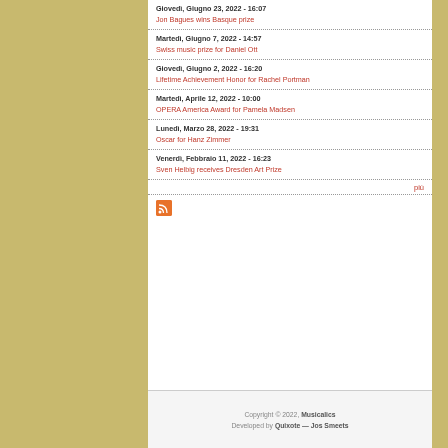Giovedì, Giugno 23, 2022 - 16:07
Jon Bagues wins Basque prize
Martedì, Giugno 7, 2022 - 14:57
Swiss music prize for Daniel Ott
Giovedì, Giugno 2, 2022 - 16:20
Lifetime Achievement Honor for Rachel Portman
Martedì, Aprile 12, 2022 - 10:00
OPERA America Award for Pamela Madsen
Lunedì, Marzo 28, 2022 - 19:31
Oscar for Hanz Zimmer
Venerdì, Febbraio 11, 2022 - 16:23
Sven Helbig receives Dresden Art Prize
più
[Figure (other): RSS feed icon - orange square with RSS symbol]
Copyright © 2022, Musicalics
Developed by Quixote — Jos Smeets